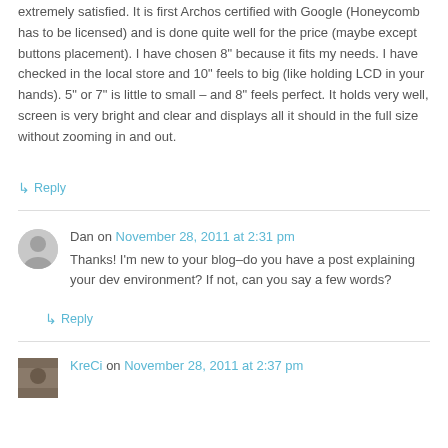extremely satisfied. It is first Archos certified with Google (Honeycomb has to be licensed) and is done quite well for the price (maybe except buttons placement). I have chosen 8" because it fits my needs. I have checked in the local store and 10" feels to big (like holding LCD in your hands). 5" or 7" is little to small – and 8" feels perfect. It holds very well, screen is very bright and clear and displays all it should in the full size without zooming in and out.
↳ Reply
Dan on November 28, 2011 at 2:31 pm
Thanks! I'm new to your blog–do you have a post explaining your dev environment? If not, can you say a few words?
↳ Reply
KreCi on November 28, 2011 at 2:37 pm